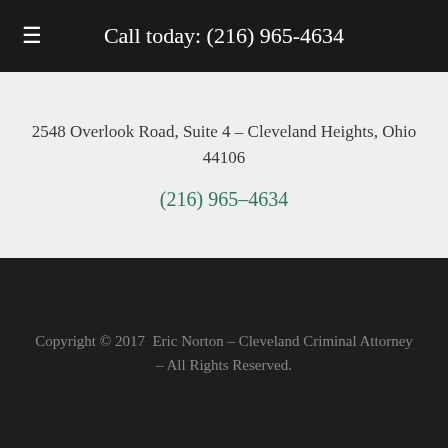Call today: (216) 965-4634
2548 Overlook Road, Suite 4 – Cleveland Heights, Ohio 44106
(216) 965-4634
Copyright © 2017  Eric Norton – Cleveland Criminal Attorney – All Rights Reserved.